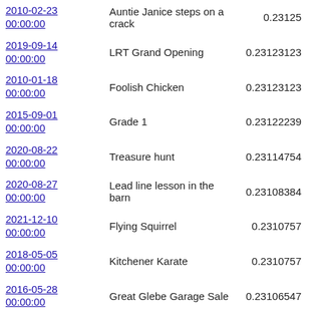| Date | Name | Score |
| --- | --- | --- |
| 2010-02-23 00:00:00 | Auntie Janice steps on a crack | 0.23125 |
| 2019-09-14 00:00:00 | LRT Grand Opening | 0.23123123 |
| 2010-01-18 00:00:00 | Foolish Chicken | 0.23123123 |
| 2015-09-01 00:00:00 | Grade 1 | 0.23122239 |
| 2020-08-22 00:00:00 | Treasure hunt | 0.23114754 |
| 2020-08-27 00:00:00 | Lead line lesson in the barn | 0.23108384 |
| 2021-12-10 00:00:00 | Flying Squirrel | 0.2310757 |
| 2018-05-05 00:00:00 | Kitchener Karate | 0.2310757 |
| 2016-05-28 00:00:00 | Great Glebe Garage Sale | 0.23106547 |
| 2020-08-15 00:00:00 | Fish | 0.23103449 |
| 2012-12-21 00:00:00 | Packing snow! Sort of... | 0.23102866 |